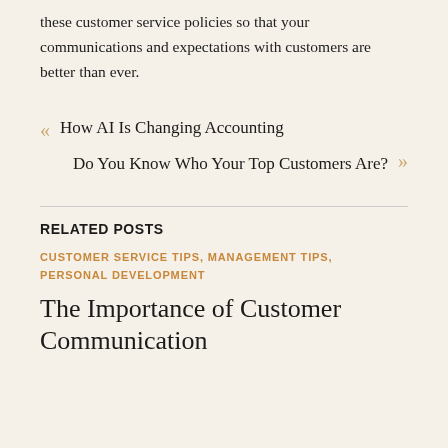these customer service policies so that your communications and expectations with customers are better than ever.
« How AI Is Changing Accounting
Do You Know Who Your Top Customers Are? »
RELATED POSTS
CUSTOMER SERVICE TIPS, MANAGEMENT TIPS, PERSONAL DEVELOPMENT
The Importance of Customer Communication